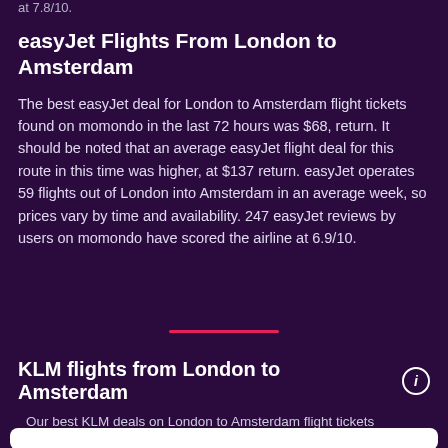at 7.8/10.
easyJet Flights From London to Amsterdam
The best easyJet deal for London to Amsterdam flight tickets found on momondo in the last 72 hours was $68, return. It should be noted that an average easyJet flight deal for this route in this time was higher, at $137 return. easyJet operates 59 flights out of London into Amsterdam in an average week, so prices vary by time and availability. 247 easyJet reviews by users on momondo have scored the airline at 6.9/10.
KLM flights from London to Amsterdam
Our best KLM deals on London to Amsterdam flight tickets